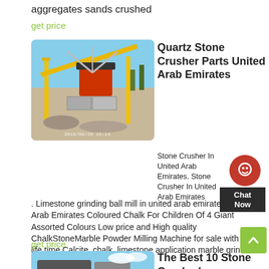aggregates sands crushed
get price
[Figure (photo): Yellow stone crusher/conveyor machine at an outdoor quarry site, photo dated 2010/09/29 16:14]
Quartz Stone Crusher Parts United Arab Emirates
Stone Crusher In United Arab Emirates. Stone Crusher In United Arab Emirates . Limestone grinding ball mill in united arab emirates. United Arab Emirates Coloured Chalk For Children Of 4 Giant Assorted Colours Low price and High quality ChalkStoneMarble Powder Milling Machine for sale with long life time Calcite, chalk, limestone application marble grinder machine for Algeria IBM 2800 Air
get price
[Figure (photo): Stone crusher machine against a blue sky with clouds]
The Best 10 Stone Crushed